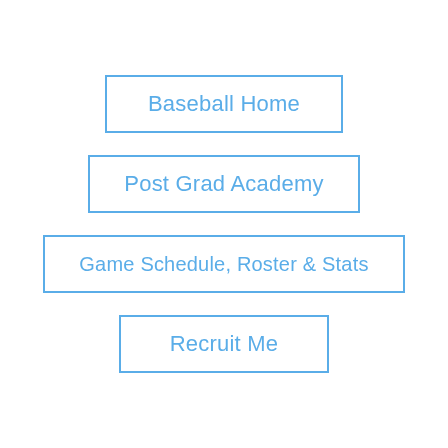Baseball Home
Post Grad Academy
Game Schedule, Roster & Stats
Recruit Me